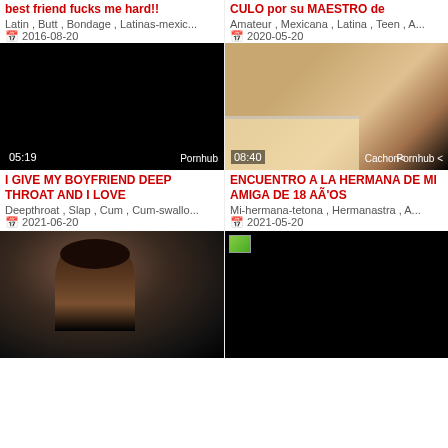best friend fucks me hard!!
Latin , Butt , Bondage , Latinas-mexic...
2016-08-20
CULO por su MAESTRO de
Amateur , Mexicana , Latina , Teen , A...
2020-05-20
[Figure (screenshot): Black video thumbnail with duration 05:19 and Pornhub label]
[Figure (photo): Video thumbnail showing person on bed, duration 08:40, Cachone and Pornhub labels]
I GIVE MY BOYFRIEND DEEP THROAT AND I LOVE
Deepthroat , Slap , Cum , Cum-swallo...
2021-06-20
ENCUENTRO A LA HERMANA DE MI AMIGA DE 18 AÃ'OS
Mi-hermana-tetona , Hermanastra , A...
2021-05-20
[Figure (photo): Video thumbnail showing person from behind]
[Figure (screenshot): Black video thumbnail with small image placeholder]